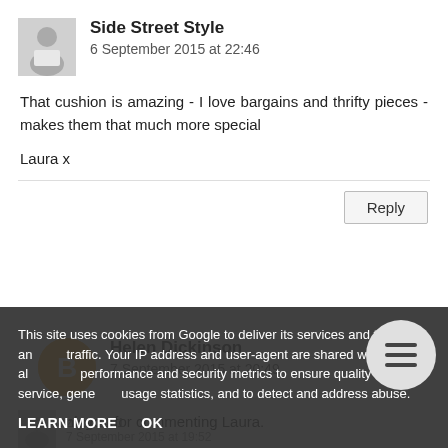[Figure (photo): Avatar photo of Side Street Style commenter, small square thumbnail]
Side Street Style
6 September 2015 at 22:46
That cushion is amazing - I love bargains and thrifty pieces - makes them that much more special

Laura x
Reply
[Figure (illustration): Blogger orange circle avatar icon with B letter for Helen Dickinson]
Helen Dickinson
7 September 2015 at 20:49
Thank you for commenting Laura.
[Figure (photo): Small thumbnail avatar for third commenter]
zigsy2401
7 September 2015 at 19:52
This site uses cookies from Google to deliver its services and to analyze traffic. Your IP address and user-agent are shared with Google along with performance and security metrics to ensure quality of service, generate usage statistics, and to detect and address abuse.
LEARN MORE   OK